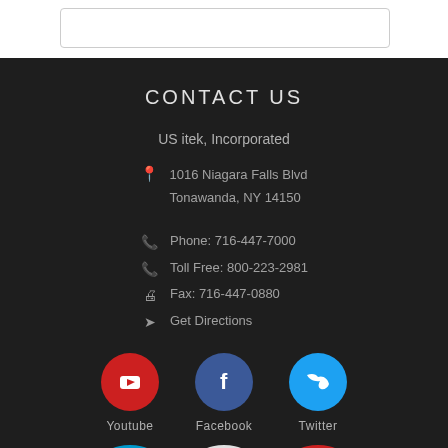CONTACT US
US itek, Incorporated
1016 Niagara Falls Blvd
Tonawanda, NY 14150
Phone: 716-447-7000
Toll Free: 800-223-2981
Fax: 716-447-0880
Get Directions
[Figure (other): Social media icons: Youtube (red circle), Facebook (blue circle), Twitter (light blue circle), with partial circles for LinkedIn, Google, and another icon at bottom]
Youtube
Facebook
Twitter